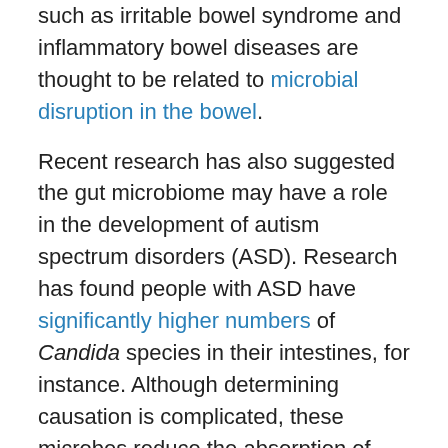such as irritable bowel syndrome and inflammatory bowel diseases are thought to be related to microbial disruption in the bowel.
Recent research has also suggested the gut microbiome may have a role in the development of autism spectrum disorders (ASD). Research has found people with ASD have significantly higher numbers of Candida species in their intestines, for instance. Although determining causation is complicated, these microbes reduce the absorption of carbohydrates and release ammonia and other toxins which are thought to contribute to autistic behaviours.
There is also emerging evidence showing that differences in gut bacteria in children are related to behavioural problems, and potentially to future mental health risk.